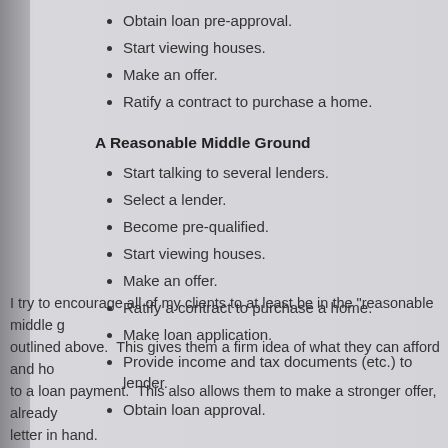Obtain loan pre-approval.
Start viewing houses.
Make an offer.
Ratify a contract to purchase a home.
A Reasonable Middle Ground
Start talking to several lenders.
Select a lender.
Become pre-qualified.
Start viewing houses.
Make an offer.
Ratify a contract to purchase a home.
Make loan application.
Provide income and tax documents (etc.) to lender.
Obtain loan approval.
I try to encourage all of my clients to at least be in the "reasonable middle g... outlined above.  This gives them a firm idea of what they can afford and ho... to a loan payment.  This also allows them to make a stronger offer, already... letter in hand.